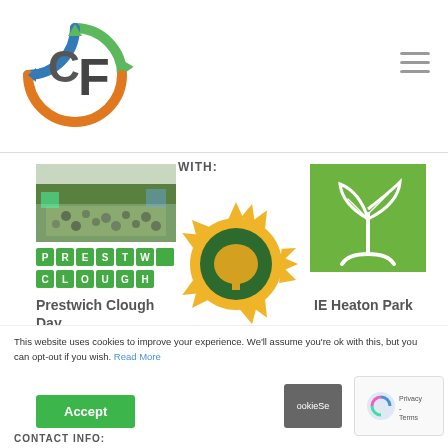[Figure (logo): Circular logo with green, blue, and orange arrows forming a ring, with a stylized 'CF' monogram in grey/dark in the center]
[Figure (illustration): Hamburger menu icon (three horizontal grey lines)]
WITH:
[Figure (photo): Outdoor photo of a crowd at Prestwich Clough Day event, with trees and green grass]
[Figure (logo): Prestwich Clough Day logo in green block lettering on white background]
Prestwich Clough Day
[Figure (logo): IE Heaton Park logo - green square with white outline drawing of a seedling/plant]
IE Heaton Park
[Figure (logo): Outside Education logo - yellow sun with rays around a green circle containing a yellow tree silhouette]
Outside Education
This website uses cookies to improve your experience. We'll assume you're ok with this, but you can opt-out if you wish. Read More
Accept
CONTACT INFO: